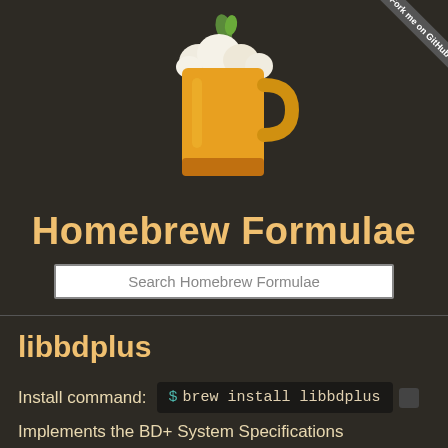[Figure (illustration): Homebrew beer mug logo: an orange/yellow beer mug with white foam and a green leaf on top]
Homebrew Formulae
Search Homebrew Formulae
libbdplus
Install command:  $ brew install libbdplus
Implements the BD+ System Specifications
https://www.videolan.org/developers/libbdplus.htm
License: GPL-2.1-or-later